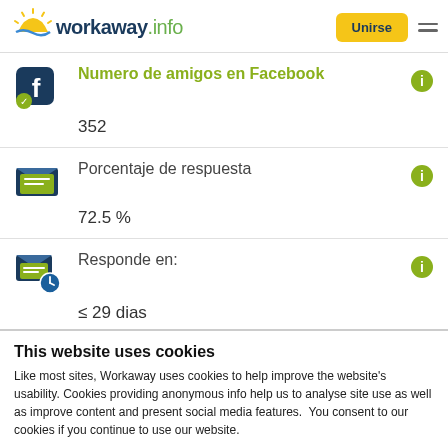workaway.info | Unirse
Numero de amigos en Facebook
352
Porcentaje de respuesta
72.5 %
Responde en:
≤ 29 dias
This website uses cookies
Like most sites, Workaway uses cookies to help improve the website's usability. Cookies providing anonymous info help us to analyse site use as well as improve content and present social media features.  You consent to our cookies if you continue to use our website.
OK | Settings